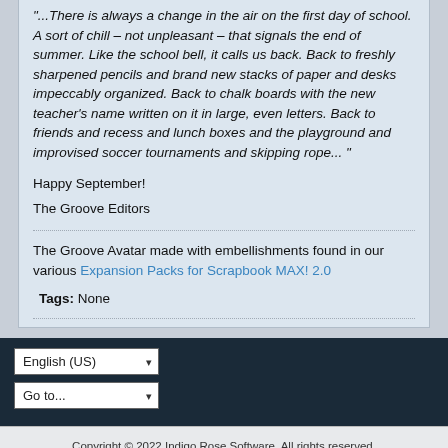"...There is always a change in the air on the first day of school. A sort of chill – not unpleasant – that signals the end of summer. Like the school bell, it calls us back. Back to freshly sharpened pencils and brand new stacks of paper and desks impeccably organized. Back to chalk boards with the new teacher's name written on it in large, even letters. Back to friends and recess and lunch boxes and the playground and improvised soccer tournaments and skipping rope... "
Happy September!
The Groove Editors
The Groove Avatar made with embellishments found in our various Expansion Packs for Scrapbook MAX! 2.0
Tags: None
English (US)
Go to...
Copyright © 2022 Indigo Rose Software. All rights reserved. Powered by vBulletin® Version 5.6.9 Copyright © 2022 MH Sub I, LLC dba vBulletin. All rights reserved. All times are GMT-6. This page was generated at 09:44 PM.